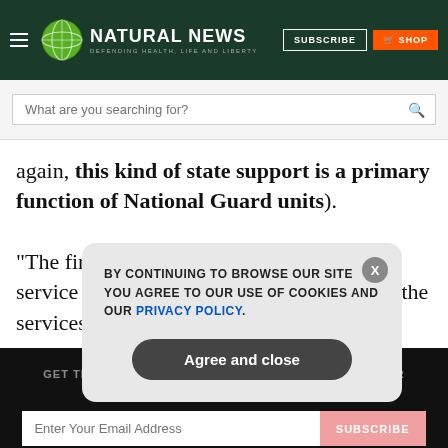[Figure (logo): Natural News logo with globe icon and tagline 'Defending Health, Life and Liberty' on dark green header with Subscribe and Shop buttons]
[Figure (screenshot): Search bar with placeholder text 'What are you searching for?' and magnifier icon]
again, this kind of state support is a primary function of National Guard units).
“The first line of defense for people in the service who need some guidance should be the services themselves,” Fidell
GET THE WORLD'S BEST NATURAL HEALTH NEWSLETTER DELIVERED STRAIGHT TO YOUR INBOX
Enter Your Email Address
SUBSCRIBE
BY CONTINUING TO BROWSE OUR SITE YOU AGREE TO OUR USE OF COOKIES AND OUR PRIVACY POLICY.
Agree and close